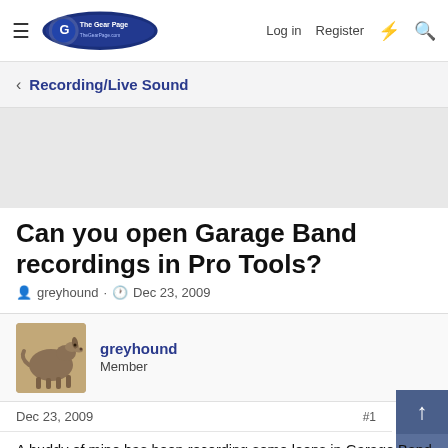The Gear Page — Log in | Register
< Recording/Live Sound
[Figure (other): Gray advertisement placeholder area]
Can you open Garage Band recordings in Pro Tools?
greyhound · Dec 23, 2009
[Figure (photo): Avatar photo of user greyhound — a greyhound dog]
greyhound
Member
Dec 23, 2009  #1
A buddy of mine has been recording some loops in Garage Band and trying to import them into Pro Tools 7.0 to record guitar tracks